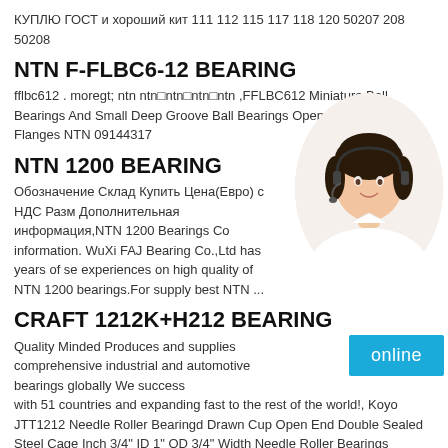КУПЛЮ ГОСТ и хороший кит 111 112 115 117 118 120 50207 208 50208
NTN F-FLBC6-12 BEARING
fflbc612 . moregt; ntn ntn□ntn□ntn□ntn ,FFLBC612 Miniature Ball Bearings And Small Deep Groove Ball Bearings Open Type With Flanges NTN 09144317
NTN 1200 BEARING
Обозначение Склад Купить Цена(Евро) с НДС Разм Дополнительная информация,NTN 1200 Bearings Co information. WuXi FAJ Bearing Co.,Ltd has years of se experiences on high quality of NTN 1200 bearings.For supply best NTN ...
[Figure (photo): Woman with headset customer service representative photo]
CRAFT 1212K+H212 BEARING
Quality Minded Produces and supplies comprehensive industrial and automotive bearings globally We success with 51 countries and expanding fast to the rest of the world!, Koyo JTT1212 Needle Roller Bearingd Drawn Cup Open End Double Sealed Steel Cage Inch 3/4" ID 1" OD 3/4" Width Needle Roller Bearings Amazoncom Industrial The bearing is factory lubricated with lithium soap grease and can be used at temperatures from 22 to 212 degrees F (30 to 100 degrees C)
[Figure (other): Online button - cyan/blue rectangle with white text 'online']